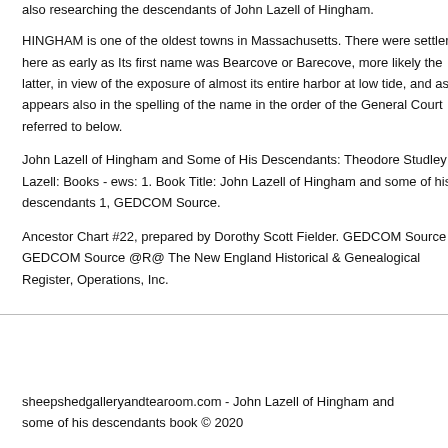also researching the descendants of John Lazell of Hingham.
HINGHAM is one of the oldest towns in Massachusetts. There were settlers here as early as Its first name was Bearcove or Barecove, more likely the latter, in view of the exposure of almost its entire harbor at low tide, and as appears also in the spelling of the name in the order of the General Court referred to below.
John Lazell of Hingham and Some of His Descendants: Theodore Studley Lazell: Books - ews: 1. Book Title: John Lazell of Hingham and some of his descendants 1, GEDCOM Source.
Ancestor Chart #22, prepared by Dorothy Scott Fielder. GEDCOM Source GEDCOM Source @R@ The New England Historical & Genealogical Register, Operations, Inc.
sheepshedgalleryandtearoom.com - John Lazell of Hingham and some of his descendants book © 2020